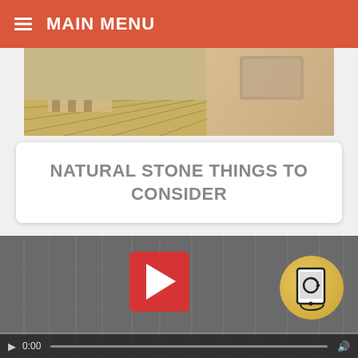≡ MAIN MENU
[Figure (photo): Top portion of a webpage showing hands interacting with a tablet displaying flooring/tile patterns]
NATURAL STONE THINGS TO CONSIDER
[Figure (screenshot): Video player showing a stone wall background with a YouTube-style play button, tooltip bubble reading 'Our flooring, your room - see it now!', an AR/room visualizer icon, and video controls showing 0:00 timestamp]